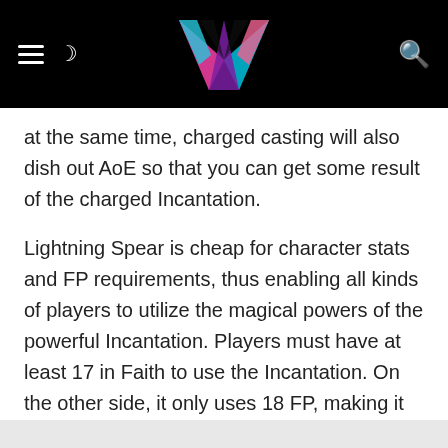[Figure (logo): Website header bar with hamburger menu icon, crescent moon icon, colorful geometric 'YA' logo in center, and search icon on right, all on black background]
at the same time, charged casting will also dish out AoE so that you can get some result of the charged Incantation.
Lightning Spear is cheap for character stats and FP requirements, thus enabling all kinds of players to utilize the magical powers of the powerful Incantation. Players must have at least 17 in Faith to use the Incantation. On the other side, it only uses 18 FP, making it the best Dragon Incantation in Elden Ring.